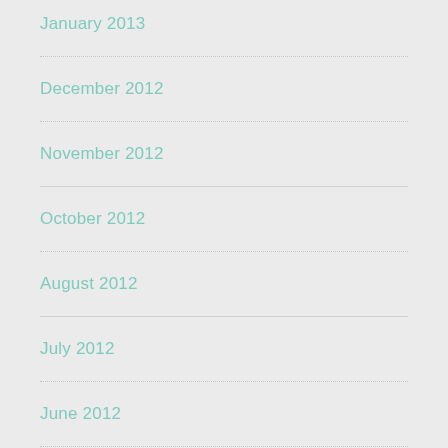January 2013
December 2012
November 2012
October 2012
August 2012
July 2012
June 2012
May 2012
April 2012
March 2012